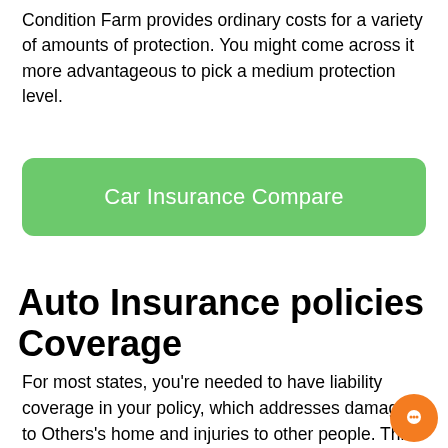Condition Farm provides ordinary costs for a variety of amounts of protection. You might come across it more advantageous to pick a medium protection level.
[Figure (other): Green rounded rectangle button with white text reading 'Car Insurance Compare']
Auto Insurance policies Coverage
For most states, you're needed to have liability coverage in your policy, which addresses damages to Others's home and injuries to other people. This kind of coverage also protects you just in case you cause a collision with A different driver. This coverage could be the default coverage in many states, and is usually recommended for drivers in many countries. However, it is necessary to are aware that liability insurance